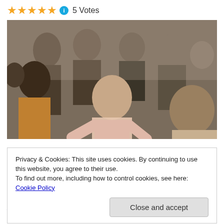★★★★★ ℹ 5 Votes
[Figure (photo): Movie scene with a woman in a pink shirt leaning forward surrounded by a crowd of people indoors]
Privacy & Cookies: This site uses cookies. By continuing to use this website, you agree to their use.
To find out more, including how to control cookies, see here: Cookie Policy
Close and accept
Adams, Viggo Mortensen, Tom Sturridge, Alice Braga,